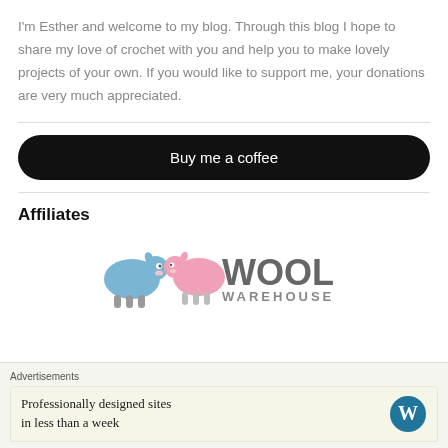I'm Esther and welcome to my blog. Through this blog I hope to share my love of crochet with you and help you to make lovely projects of your own. If you would like to support me, your donations are very much appreciated.
[Figure (other): Black rounded button with white text: Buy me a coffee]
Affiliates
[Figure (logo): Wool Warehouse logo: two cartoon sheep (blue and pink) with bold text WOOL WAREHOUSE]
Advertisements
[Figure (other): WordPress advertisement banner: Professionally designed sites in less than a week, with WordPress logo]